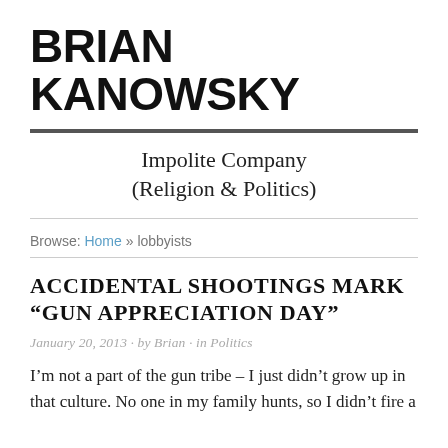BRIAN KANOWSKY
Impolite Company (Religion & Politics)
Browse: Home » lobbyists
ACCIDENTAL SHOOTINGS MARK "GUN APPRECIATION DAY"
January 20, 2013 · by Brian · in Politics
I'm not a part of the gun tribe – I just didn't grow up in that culture. No one in my family hunts, so I didn't fire a